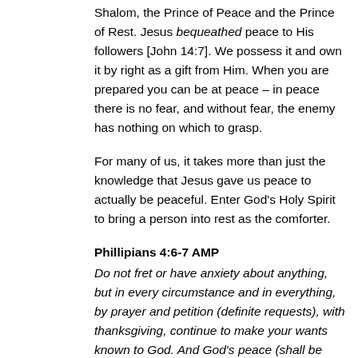Shalom, the Prince of Peace and the Prince of Rest. Jesus bequeathed peace to His followers [John 14:7]. We possess it and own it by right as a gift from Him. When you are prepared you can be at peace – in peace there is no fear, and without fear, the enemy has nothing on which to grasp.
For many of us, it takes more than just the knowledge that Jesus gave us peace to actually be peaceful. Enter God's Holy Spirit to bring a person into rest as the comforter.
Phillipians 4:6-7 AMP
Do not fret or have anxiety about anything, but in every circumstance and in everything, by prayer and petition (definite requests), with thanksgiving, continue to make your wants known to God. And God's peace (shall be yours, that tranquil state of a soul assured of its salvation through Christ, and so fearing nothing